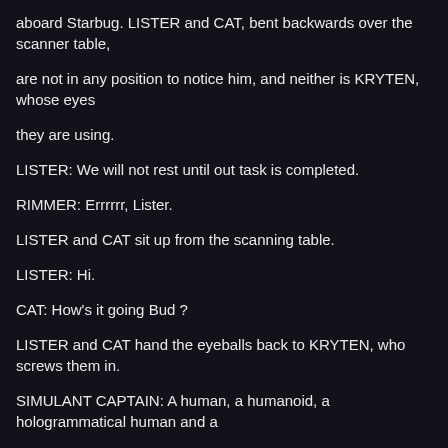aboard Starbug. LISTER and CAT, bent backwards over the scanner table,
are not in any position to notice him, and neither is KRYTEN, whose eyes
they are using.
LISTER: We will not rest until out task is completed.
RIMMER: Errrrrr, Lister.
LISTER and CAT sit up from the scanning table.
LISTER: Hi.
CAT: How's it going Bud ?
LISTER and CAT hand the eyeballs back to KRYTEN, who screws them in.
SIMULANT CAPTAIN: A human, a humanoid, a hologrammatical human and a